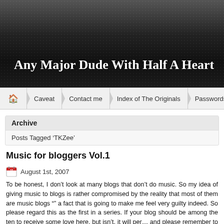Any Major Dude With Half A Heart
Home | Caveat | Contact me | Index of The Originals | Passwords
Archive
Posts Tagged ‘TKZee’
Music for bloggers Vol.1
August 1st, 2007
To be honest, I don’t look at many blogs that don’t do music. So my idea of giving music to blogs is rather compromised by the reality that most of them are music blogs “” a fact that is going to make me feel very guilty indeed. So please regard this as the first in a series. If your blog should be among the ten to receive some love here, but isn’t, it will per... and please remember to right-click to open links in a new window or tab.
And here, my funky ones, is the song that inspired the name for this blog (which a Tears):
Steely Dan – Any Major Dude.mp3
Totally Fuzzy